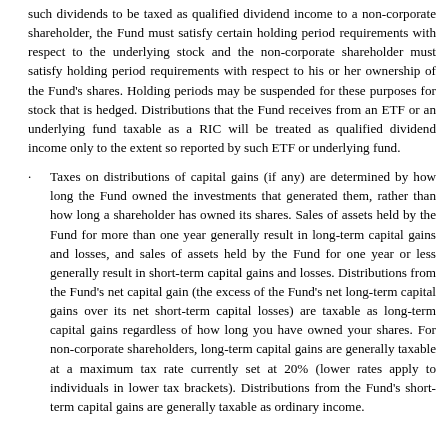such dividends to be taxed as qualified dividend income to a non-corporate shareholder, the Fund must satisfy certain holding period requirements with respect to the underlying stock and the non-corporate shareholder must satisfy holding period requirements with respect to his or her ownership of the Fund's shares. Holding periods may be suspended for these purposes for stock that is hedged. Distributions that the Fund receives from an ETF or an underlying fund taxable as a RIC will be treated as qualified dividend income only to the extent so reported by such ETF or underlying fund.
Taxes on distributions of capital gains (if any) are determined by how long the Fund owned the investments that generated them, rather than how long a shareholder has owned its shares. Sales of assets held by the Fund for more than one year generally result in long-term capital gains and losses, and sales of assets held by the Fund for one year or less generally result in short-term capital gains and losses. Distributions from the Fund's net capital gain (the excess of the Fund's net long-term capital gains over its net short-term capital losses) are taxable as long-term capital gains regardless of how long you have owned your shares. For non-corporate shareholders, long-term capital gains are generally taxable at a maximum tax rate currently set at 20% (lower rates apply to individuals in lower tax brackets). Distributions from the Fund's short-term capital gains are generally taxable as ordinary income.